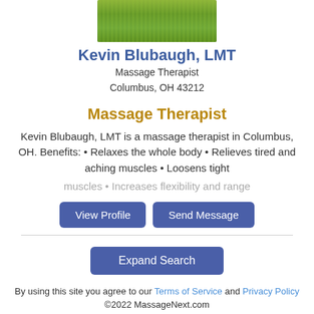[Figure (photo): Cropped photo of green wheat or grain field at top of page]
Kevin Blubaugh, LMT
Massage Therapist
Columbus, OH 43212
Massage Therapist
Kevin Blubaugh, LMT is a massage therapist in Columbus, OH. Benefits: • Relaxes the whole body • Relieves tired and aching muscles • Loosens tight muscles • Increases flexibility and range
View Profile | Send Message
Expand Search
By using this site you agree to our Terms of Service and Privacy Policy ©2022 MassageNext.com